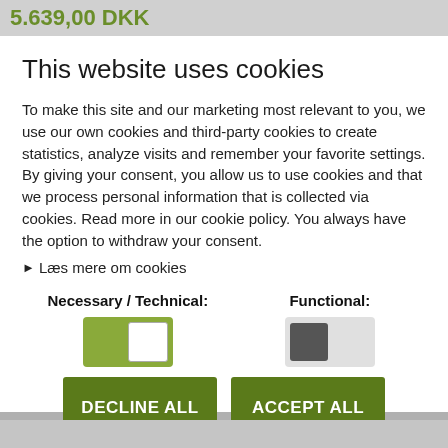5.639,00 DKK
This website uses cookies
To make this site and our marketing most relevant to you, we use our own cookies and third-party cookies to create statistics, analyze visits and remember your favorite settings. By giving your consent, you allow us to use cookies and that we process personal information that is collected via cookies. Read more in our cookie policy. You always have the option to withdraw your consent.
▶ Læs mere om cookies
Necessary / Technical:
Functional:
DECLINE ALL
ACCEPT ALL
SHOW DETAILS